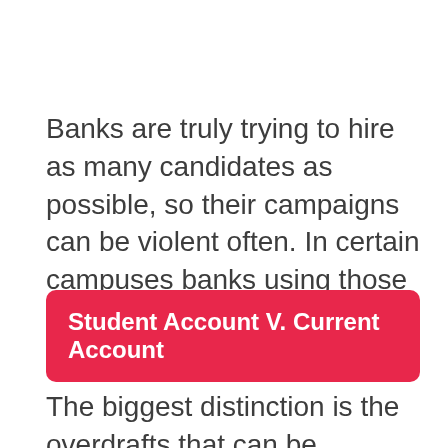Banks are truly trying to hire as many candidates as possible, so their campaigns can be violent often. In certain campuses banks using those patrons acquired exclusive rights.
Student Account V. Current Account
The biggest distinction is the overdrafts that can be obtained on a student's account.